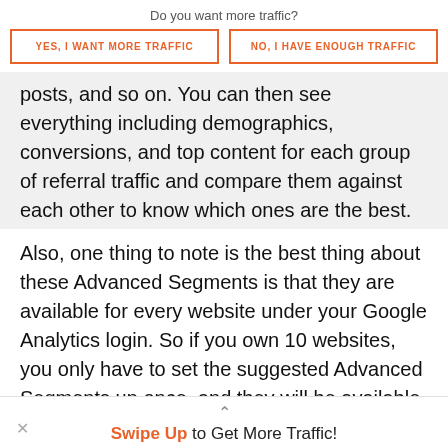Do you want more traffic?
YES, I WANT MORE TRAFFIC
NO, I HAVE ENOUGH TRAFFIC
posts, and so on. You can then see everything including demographics, conversions, and top content for each group of referral traffic and compare them against each other to know which ones are the best.
Also, one thing to note is the best thing about these Advanced Segments is that they are available for every website under your Google Analytics login. So if you own 10 websites, you only have to set the suggested Advanced Segments up once, and they will be available to you on each of your website profiles (plus those you have been granted
Swipe Up to Get More Traffic!